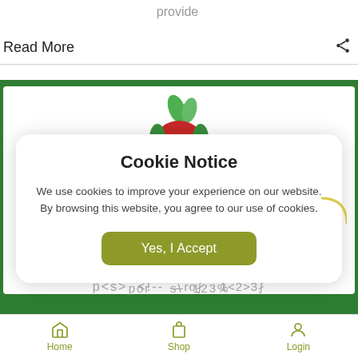provide
Read More
[Figure (logo): Apple/fruit logo with red apple body and green leaves]
Cookie Notice
We use cookies to improve your experience on our website. By browsing this website, you agree to our use of cookies.
Yes, I Accept
Home  Shop  Login